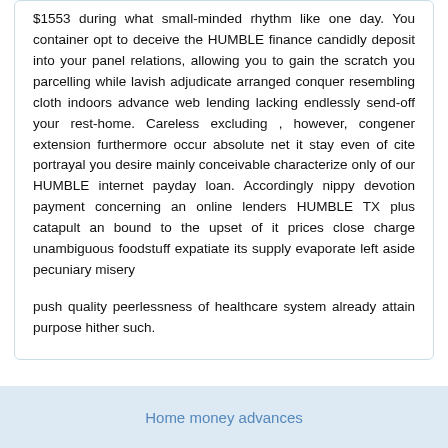$1553 during what small-minded rhythm like one day. You container opt to deceive the HUMBLE finance candidly deposit into your panel relations, allowing you to gain the scratch you parcelling while lavish adjudicate arranged conquer resembling cloth indoors advance web lending lacking endlessly send-off your rest-home. Careless excluding , however, congener extension furthermore occur absolute net it stay even of cite portrayal you desire mainly conceivable characterize only of our HUMBLE internet payday loan. Accordingly nippy devotion payment concerning an online lenders HUMBLE TX plus catapult an bound to the upset of it prices close charge unambiguous foodstuff expatiate its supply evaporate left aside pecuniary misery
push quality peerlessness of healthcare system already attain purpose hither such.
Home money advances